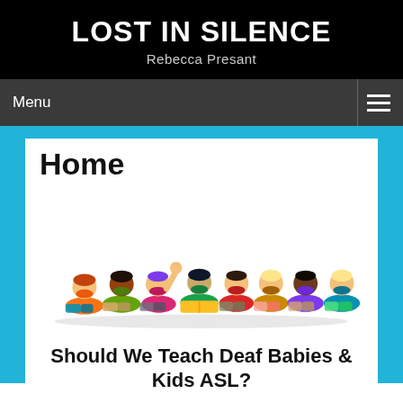LOST IN SILENCE
Rebecca Presant
Menu
Home
[Figure (photo): Seven children of various ethnicities lying on the floor reading colorful books, photographed from the front on a white background.]
Should We Teach Deaf Babies & Kids ASL?